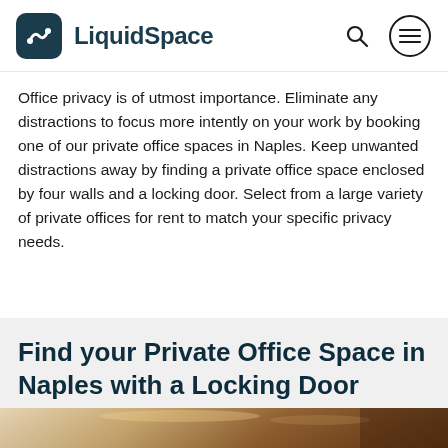LiquidSpace
Office privacy is of utmost importance. Eliminate any distractions to focus more intently on your work by booking one of our private office spaces in Naples. Keep unwanted distractions away by finding a private office space enclosed by four walls and a locking door. Select from a large variety of private offices for rent to match your specific privacy needs.
Find your Private Office Space in Naples with a Locking Door
[Figure (photo): Interior photo of a private office space showing ceiling details and warm lighting]